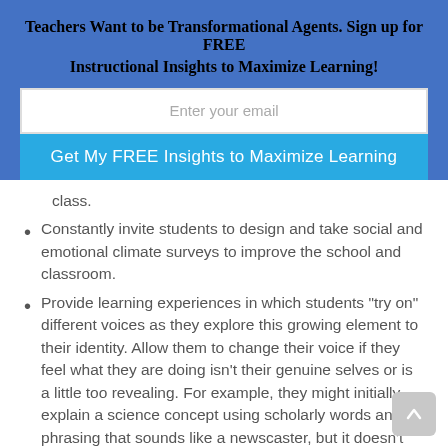Teachers Want to be Transformational Agents. Sign up for FREE Instructional Insights to Maximize Learning!
Enter your email
Get My FREE Insights to Maximize Learning
class.
Constantly invite students to design and take social and emotional climate surveys to improve the school and classroom.
Provide learning experiences in which students "try on" different voices as they explore this growing element to their identity. Allow them to change their voice if they feel what they are doing isn't their genuine selves or is a little too revealing. For example, they might initially explain a science concept using scholarly words and phrasing that sounds like a newscaster, but it doesn't